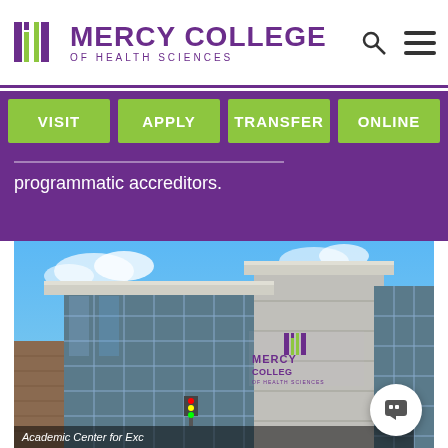MERCY COLLEGE OF HEALTH SCIENCES
VISIT   APPLY   TRANSFER   ONLINE
programmatic accreditors.
[Figure (photo): Exterior photo of Mercy College of Health Sciences Academic Center for Excellence building, a modern multi-story structure with glass curtain wall facade and the college logo prominently displayed. Blue sky background.]